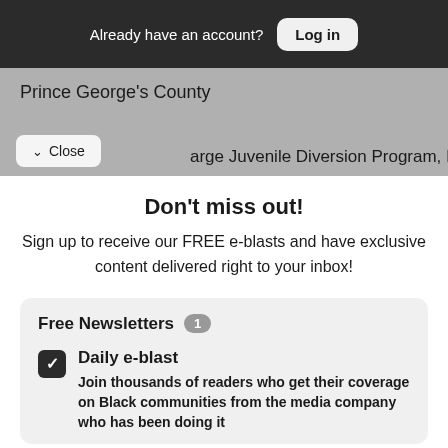Already have an account? Log in
Prince George's County
✓ Close
arge Juvenile Diversion Program, Inc
Don't miss out!
Sign up to receive our FREE e-blasts and have exclusive content delivered right to your inbox!
Free Newsletters 1
Daily e-blast
Join thousands of readers who get their coverage on Black communities from the media company who has been doing it